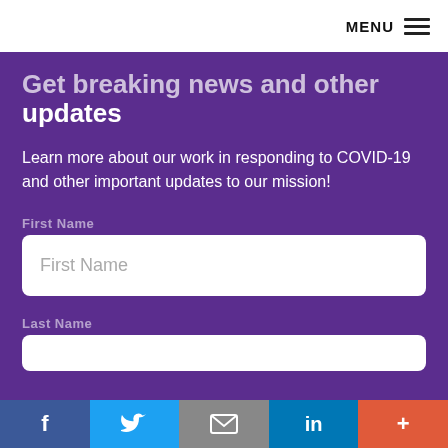MENU
Get breaking news and other updates
Learn more about our work in responding to COVID-19 and other important updates to our mission!
First Name
First Name
Last Name
[Figure (infographic): Social sharing bar with Facebook, Twitter, Email, LinkedIn, and Plus buttons]